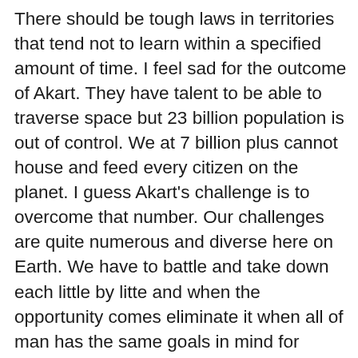There should be tough laws in territories that tend not to learn within a specified amount of time. I feel sad for the outcome of Akart. They have talent to be able to traverse space but 23 billion population is out of control. We at 7 billion plus cannot house and feed every citizen on the planet. I guess Akart's challenge is to overcome that number. Our challenges are quite numerous and diverse here on Earth. We have to battle and take down each little by litte and when the opportunity comes eliminate it when all of man has the same goals in mind for further mental accuracy in all ventures. I think each planet should have a cap, and although materialism is the cause of mans mental weaknesses and extroardinarily hard to overcome for most people I think if they had a law that prohibits those that are tied to materialistic growth primarily banned from any leadership position or anywhere near any position of power. Only people that thrive to improve mans mentality and conscience through correct methods should hold positions of leadership. Until that change, no position should be aligned at the...